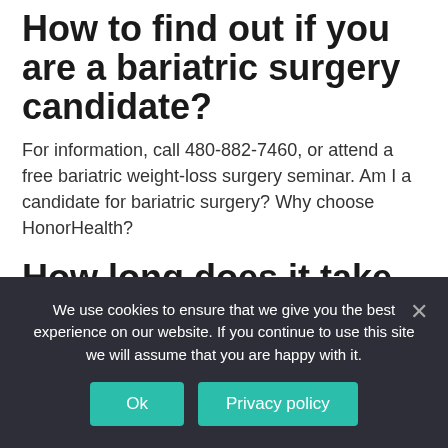How to find out if you are a bariatric surgery candidate?
For information, call 480-882-7460, or attend a free bariatric weight-loss surgery seminar. Am I a candidate for bariatric surgery? Why choose HonorHealth?
How long does it take to get insurance approval for bariatric surgery?
At this time, a letter will be sent to your insurance company to obtain approval for the operation. The approval process can take from a few weeks to a few months, depending on your insurance company. The information session is an important part
We use cookies to ensure that we give you the best experience on our website. If you continue to use this site we will assume that you are happy with it.